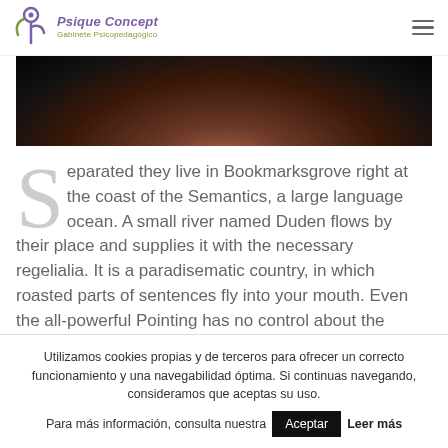[Figure (logo): Psique Concept Gabinete Psicopedagógico logo with stylized P icon in purple/green]
[Figure (photo): Dark photograph showing partial face/head, cropped at top]
Separated they live in Bookmarksgrove right at the coast of the Semantics, a large language ocean. A small river named Duden flows by their place and supplies it with the necessary regelialia. It is a paradisematic country, in which roasted parts of sentences fly into your mouth. Even the all-powerful Pointing has no control about the
Utilizamos cookies propias y de terceros para ofrecer un correcto funcionamiento y una navegabilidad óptima. Si continuas navegando, consideramos que aceptas su uso. Para más información, consulta nuestra